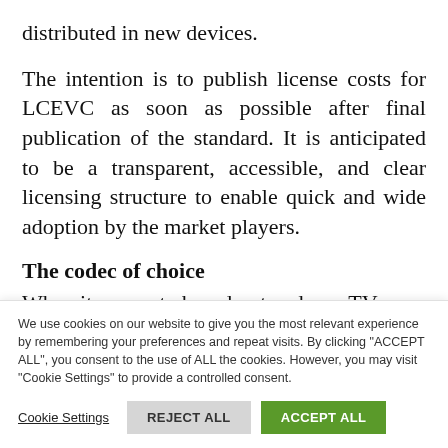distributed in new devices.
The intention is to publish license costs for LCEVC as soon as possible after final publication of the standard. It is anticipated to be a transparent, accessible, and clear licensing structure to enable quick and wide adoption by the market players.
The codec of choice
When it comes to broadcast and pay-TV
We use cookies on our website to give you the most relevant experience by remembering your preferences and repeat visits. By clicking "ACCEPT ALL", you consent to the use of ALL the cookies. However, you may visit "Cookie Settings" to provide a controlled consent.
Cookie Settings | REJECT ALL | ACCEPT ALL